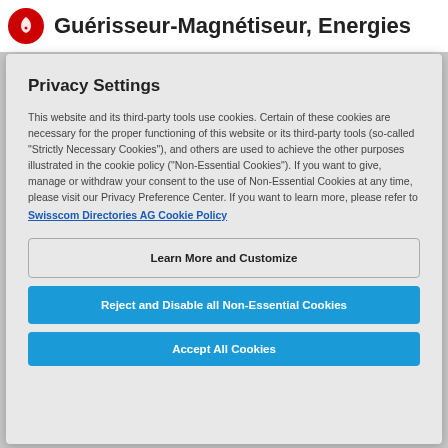Guérisseur-Magnétiseur, Energies
Privacy Settings
This website and its third-party tools use cookies. Certain of these cookies are necessary for the proper functioning of this website or its third-party tools (so-called "Strictly Necessary Cookies"), and others are used to achieve the other purposes illustrated in the cookie policy ("Non-Essential Cookies"). If you want to give, manage or withdraw your consent to the use of Non-Essential Cookies at any time, please visit our Privacy Preference Center. If you want to learn more, please refer to Swisscom Directories AG Cookie Policy
Learn More and Customize
Reject and Disable all Non-Essential Cookies
Accept All Cookies